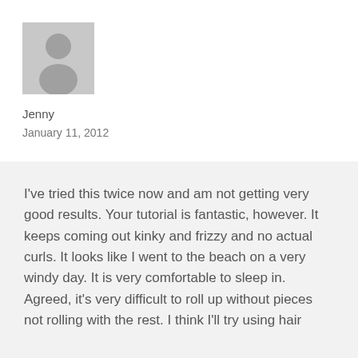[Figure (illustration): Gray placeholder avatar icon showing a silhouette of a person on a gray square background]
Jenny
January 11, 2012
I've tried this twice now and am not getting very good results. Your tutorial is fantastic, however. It keeps coming out kinky and frizzy and no actual curls. It looks like I went to the beach on a very windy day. It is very comfortable to sleep in. Agreed, it's very difficult to roll up without pieces not rolling with the rest. I think I'll try using hair